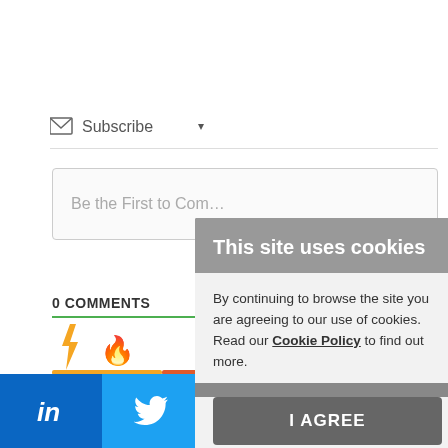[Figure (screenshot): Subscribe button with mail icon and dropdown arrow]
[Figure (screenshot): Comment input box with placeholder text 'Be the First to Com...']
0 COMMENTS
[Figure (screenshot): Lightning bolt icon (yellow) and fire icon (orange-red) with progress bar]
[Figure (screenshot): Cookie consent overlay: 'This site uses cookies' with I AGREE button]
[Figure (screenshot): Social sharing bar with LinkedIn, Twitter, Facebook, Reddit, and more buttons]